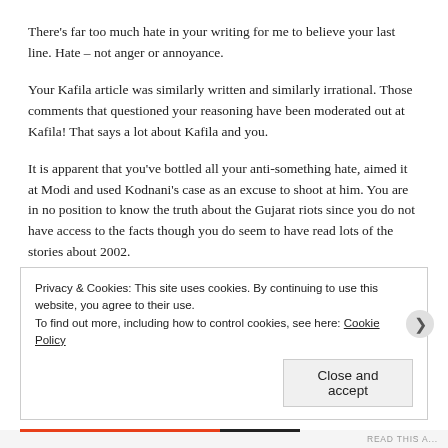There's far too much hate in your writing for me to believe your last line. Hate – not anger or annoyance.
Your Kafila article was similarly written and similarly irrational. Those comments that questioned your reasoning have been moderated out at Kafila! That says a lot about Kafila and you.
It is apparent that you've bottled all your anti-something hate, aimed it at Modi and used Kodnani's case as an excuse to shoot at him. You are in no position to know the truth about the Gujarat riots since you do not have access to the facts though you do seem to have read lots of the stories about 2002.
Privacy & Cookies: This site uses cookies. By continuing to use this website, you agree to their use. To find out more, including how to control cookies, see here: Cookie Policy
Close and accept